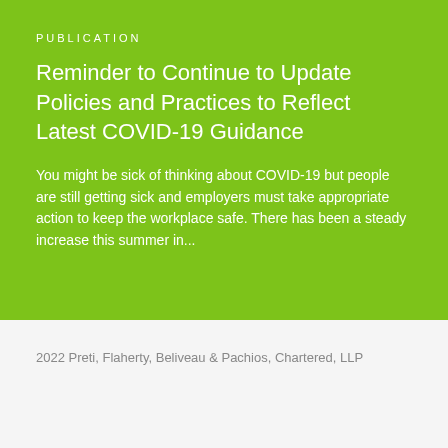PUBLICATION
Reminder to Continue to Update Policies and Practices to Reflect Latest COVID-19 Guidance
You might be sick of thinking about COVID-19 but people are still getting sick and employers must take appropriate action to keep the workplace safe. There has been a steady increase this summer in...
2022 Preti, Flaherty, Beliveau & Pachios, Chartered, LLP